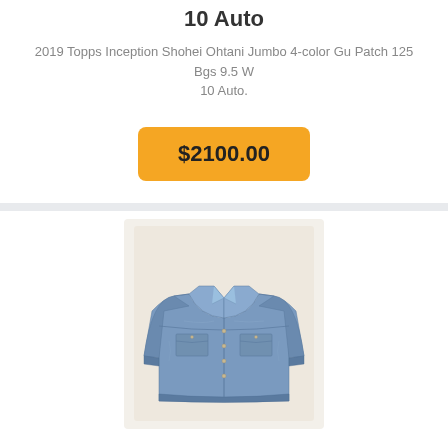10 Auto
2019 Topps Inception Shohei Ohtani Jumbo 4-color Gu Patch 125 Bgs 9.5 W 10 Auto.
$2100.00
[Figure (photo): A worn blue denim jacket photographed on a white/light background, shown from the front without a model.]